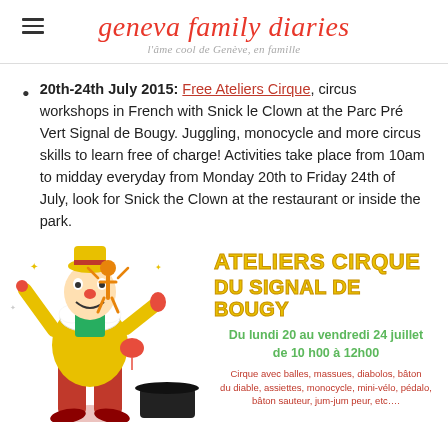geneva family diaries — l'âme cool de Genève, en famille
20th-24th July 2015: Free Ateliers Cirque, circus workshops in French with Snick le Clown at the Parc Pré Vert Signal de Bougy. Juggling, monocycle and more circus skills to learn free of charge! Activities take place from 10am to midday everyday from Monday 20th to Friday 24th of July, look for Snick the Clown at the restaurant or inside the park.
[Figure (illustration): Circus poster with clown illustration on the left and text on the right reading 'Ateliers Cirque du Signal de Bougy', 'Du lundi 20 au vendredi 24 juillet de 10 h00 à 12h00', with red text listing circus activities: Cirque avec balles, massues, diabolos, bâton du diable, assiettes, monocycle, mini-vélo, pédalo, bâton sauteur, jum-jum peur, etc....]